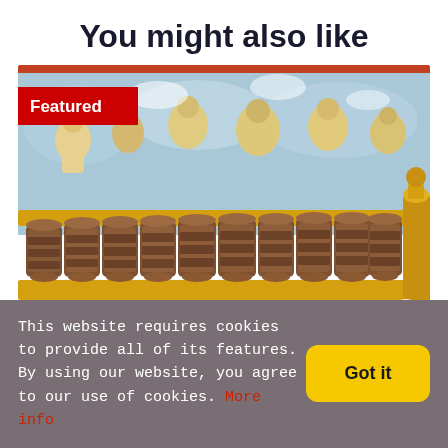You might also like
[Figure (photo): Photo of Tibetan/Buddhist prayer wheels (bronze cylinders with inscribed mantras) lined up on a yellow wooden rack, with colorful mural paintings of Buddhist deities in the background. A red 'Featured' badge is in the top-left corner and a white heart icon in the bottom-right corner.]
This website requires cookies to provide all of its features. By using our website, you agree to our use of cookies. More info